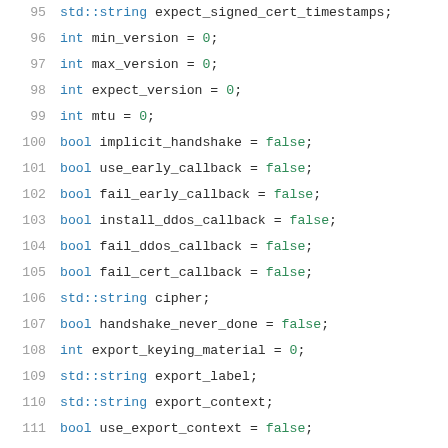[Figure (screenshot): Source code listing showing C++ struct/class member variable declarations, lines 95-116, with line numbers in gray and syntax highlighting: type keywords in blue, values in green.]